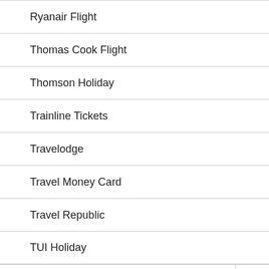Ryanair Flight
Thomas Cook Flight
Thomson Holiday
Trainline Tickets
Travelodge
Travel Money Card
Travel Republic
TUI Holiday
Entertainment